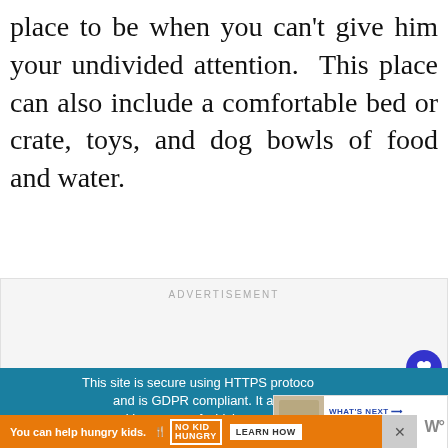place to be when you can't give him your undivided attention. This place can also include a comfortable bed or crate, toys, and dog bowls of food and water.
[Figure (screenshot): Advertisement placeholder box with 'ADVERTISEMENT' label in gray]
[Figure (screenshot): GDPR compliance notice bar in teal/blue: 'This site is secure using HTTPS protocol and is GDPR compliant. It also uses cookies, some of which are required for its operation. Please agree to this before you continue using this site. Learn more.' with a 'What's Next: Product Reviews' widget overlay and heart/share buttons]
[Figure (screenshot): Bottom banner ad: 'You can help hungry kids.' with No Kid Hungry logo and 'LEARN HOW' button on orange background, with close X button and 'W°' logo at right]